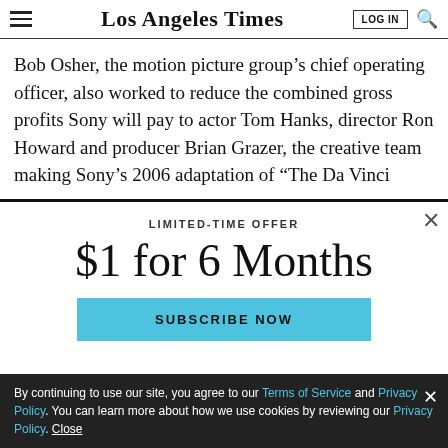Los Angeles Times
Bob Osher, the motion picture group’s chief operating officer, also worked to reduce the combined gross profits Sony will pay to actor Tom Hanks, director Ron Howard and producer Brian Grazer, the creative team making Sony’s 2006 adaptation of “The Da Vinci
LIMITED-TIME OFFER
$1 for 6 Months
SUBSCRIBE NOW
By continuing to use our site, you agree to our Terms of Service and Privacy Policy. You can learn more about how we use cookies by reviewing our Privacy Policy. Close